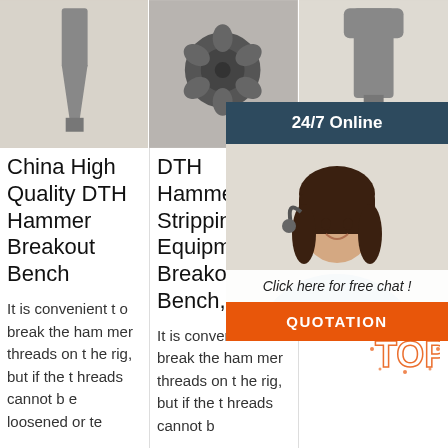[Figure (photo): Metal DTH hammer breakout bench tool - single pointed chisel-like metal tool on light background]
[Figure (photo): DTH hammer drill bit with multiple carbide inserts viewed from above, black and white photo]
[Figure (photo): Flat paddle-shaped metal DTH hammer breakout bench accessory on light background]
China High Quality DTH Hammer Breakout Bench
DTH Hammer Stripping Equipment Breakout Bench,
DTH Hammer Breakout Benches are designed for disassembling and assembling DTH h
It is convenient to break the hammer threads on the rig, but if the threads cannot be loosened or te
It is convenient to break the hammer threads on the rig, but if the threads cannot b
Hammer Breakout Benches are designed for disassembling and assembling DTH hammers. This to
[Figure (photo): 24/7 Online customer service chat agent - woman with headset smiling, with chat overlay buttons including Click here for free chat and QUOTATION button]